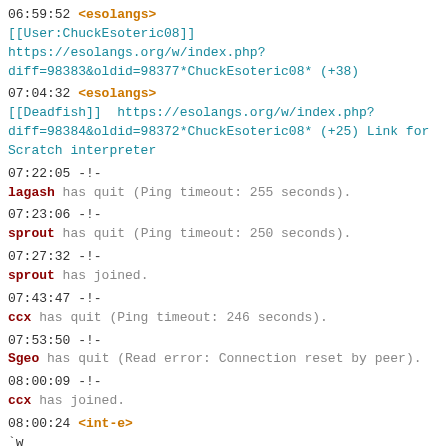06:59:52 <esolangs> [[User:ChuckEsoteric08]] https://esolangs.org/w/index.php?diff=98383&oldid=98377*ChuckEsoteric08* (+38)
07:04:32 <esolangs> [[Deadfish]] https://esolangs.org/w/index.php?diff=98384&oldid=98372*ChuckEsoteric08* (+25) Link for Scratch interpreter
07:22:05 -!- lagash has quit (Ping timeout: 255 seconds).
07:23:06 -!- sprout has quit (Ping timeout: 250 seconds).
07:27:32 -!- sprout has joined.
07:43:47 -!- ccx has quit (Ping timeout: 246 seconds).
07:53:50 -!- Sgeo has quit (Read error: Connection reset by peer).
08:00:09 -!- ccx has joined.
08:00:24 <int-e> `w
08:00:27 <HackEso> ping//Ping is a Peking Duck H4XX0R who amuses himself by making people's IRC connections timeout.